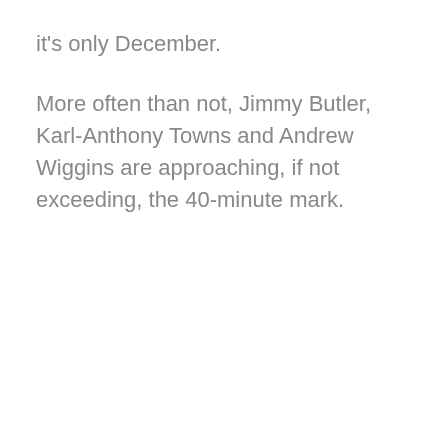it's only December.
More often than not, Jimmy Butler, Karl-Anthony Towns and Andrew Wiggins are approaching, if not exceeding, the 40-minute mark.